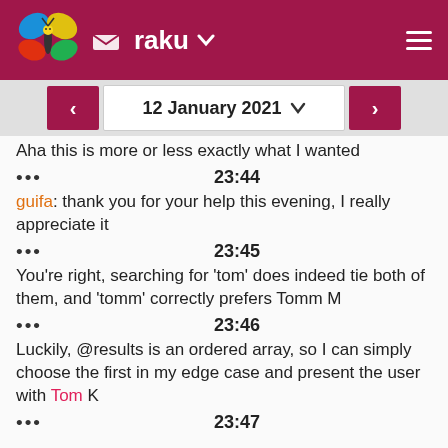raku
12 January 2021
Aha this is more or less exactly what I wanted
••• 23:44
guifa: thank you for your help this evening, I really appreciate it
••• 23:45
You're right, searching for 'tom' does indeed tie both of them, and 'tomm' correctly prefers Tomm M
••• 23:46
Luckily, @results is an ordered array, so I can simply choose the first in my edge case and present the user with Tom K
••• 23:47